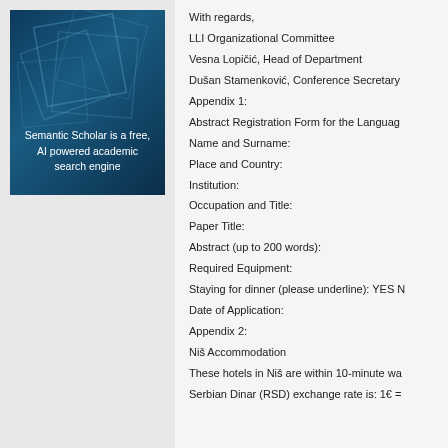[Figure (logo): Semantic Scholar logo box — dark teal/navy background with geometric square overlays and white text reading 'Semantic Scholar is a free, AI powered academic search engine']
With regards,
LLI Organizational Committee
Vesna Lopičić, Head of Department
Dušan Stamenković, Conference Secretary
Appendix 1:
Abstract Registration Form for the Language
Name and Surname:
Place and Country:
Institution:
Occupation and Title:
Paper Title:
Abstract (up to 200 words):
Required Equipment:
Staying for dinner (please underline): YES N
Date of Application:
Appendix 2:
Niš Accommodation
These hotels in Niš are within 10-minute wa
Serbian Dinar (RSD) exchange rate is: 1€ =